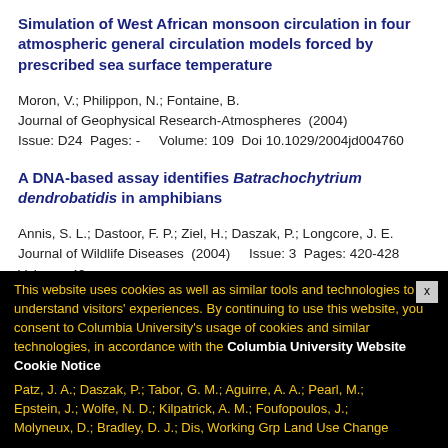Simulation of West African monsoon circulation in four atmospheric general circulation models forced by prescribed sea surface temperature
Moron, V.; Philippon, N.; Fontaine, B.
Journal of Geophysical Research-Atmospheres (2004)
Issue: D24  Pages: -    Volume: 109  Doi 10.1029/2004jd004760
A DNA-based assay identifies Batrachochytrium dendrobatidis in amphibians
Annis, S. L.; Dastoor, F. P.; Ziel, H.; Daszak, P.; Longcore, J. E.
Journal of Wildlife Diseases (2004)    Issue: 3  Pages: 420-428
Volume: 40
Radiocarbon dating of diatom-bound organic compounds
Ingalls, A. E.; Anderson, R. F.; Pearson, A.  Marine Chemistry (2004)    Issue: 1-4  Pages: 91-105    Volume: 92
DOI 10.1016/j.marchem.2004.06.019
Unhealthy landscapes: Policy recommendations on land use change and infectious disease emergence
Patz, J. A.; Daszak, P.; Tabor, G. M.; Aguirre, A. A.; Pearl, M.; Epstein, J.; Wolfe, N. D.; Kilpatrick, A. M.; Foufopoulos, J.; Molyneux, D.; Bradley, D. J.; Dis, Working Grp Land Use Change
This website uses cookies as well as similar tools and technologies to understand visitors' experiences. By continuing to use this website, you consent to Columbia University's usage of cookies and similar technologies, in accordance with the Columbia University Website Cookie Notice